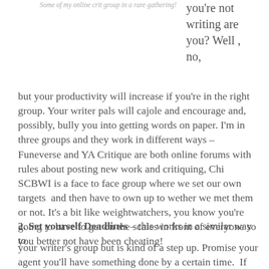Some of my online crit group in a rare gathering!
you're not writing are you? Well , no, but your productivity will increase if you're in the right group. Your writer pals will cajole and encourage and, possibly, bully you into getting words on paper. I'm in three groups and they work in different ways – Funeverse and YA Critique are both online forums with rules about posting new work and critiquing, Chi SCBWI is a face to face group where we set our own targets  and then have to own up to wether we met them  or not. It's a bit like weightwatchers, you know you're going to have to get on the scales in front of everyone so you better not have been cheating!
2. Set yourself Deadlines – this works in a similar way to your writer's group but is kind of a step up. Promise your agent you'll have something done by a certain time.  If you don't have an agent, make it an editor – they don't have to